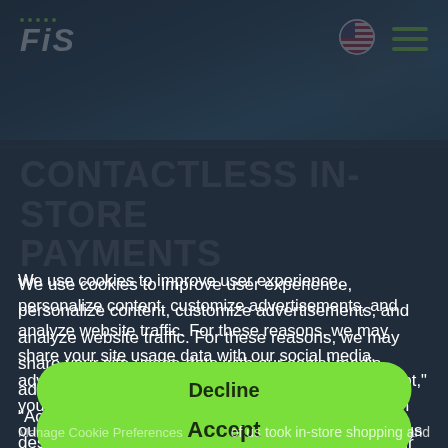[Figure (screenshot): FIS website screenshot showing top navigation bar with FIS logo (green dots above italic white text), globe/language icon, and green hamburger menu. Background shows a hand holding a smartphone at a payment terminal.]
CONTACTLESS IN-STORE PAYMENTS
We use cookies to improve user experience, personalize content, customize advertisements, and analyze website traffic. For these reasons, we may share your site usage data with our social media, advertising, and analytics partners. By clicking “Accept,” you agree to our website’s cookie use as described in our Cookie Policy. You can change your cookie settings at any time by clicking “Preferences.”
Payments are evolving at a rapid pace. As omnichannel shopping experiences have become the norm, our smartphones have opened up new pathways for purchasing. Today’s consumers and merchants exchange payments seamlessly across any number of channels along a customer’s journey.
Decline
Accept
Manage Cookie Preferences
of us took in-store shopping and